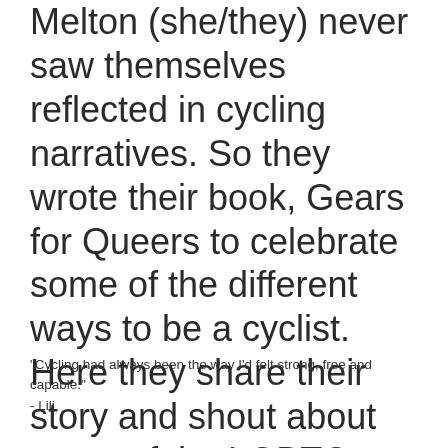Melton (she/they) never saw themselves reflected in cycling narratives. So they wrote their book, Gears for Queers to celebrate some of the different ways to be a cyclist. Here they share their story and shout about some of the LGBTQ+ people paving the way for more inclusive cycling in the UK.
"Cycling had always been the way I'd felt strong, free and capable."
- Lili